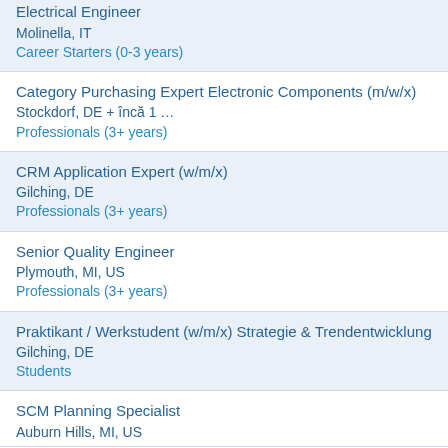Electrical Engineer
Molinella, IT
Career Starters (0-3 years)
Category Purchasing Expert Electronic Components (m/w/x)
Stockdorf, DE + încă 1 …
Professionals (3+ years)
CRM Application Expert (w/m/x)
Gilching, DE
Professionals (3+ years)
Senior Quality Engineer
Plymouth, MI, US
Professionals (3+ years)
Praktikant / Werkstudent (w/m/x) Strategie & Trendentwicklung
Gilching, DE
Students
SCM Planning Specialist
Auburn Hills, MI, US